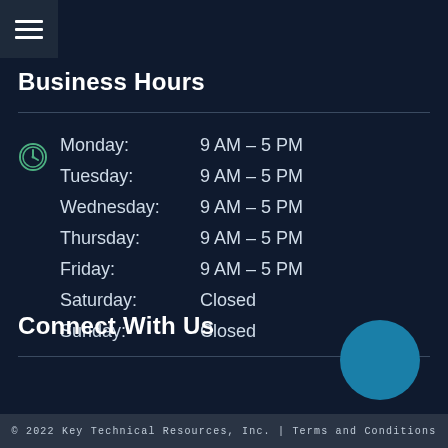[Figure (other): Hamburger menu icon (three horizontal lines) in a dark square box in top-left corner]
Business Hours
[Figure (other): Clock icon circle (green outline clock symbol)]
| Day | Hours |
| --- | --- |
| Monday: | 9 AM – 5 PM |
| Tuesday: | 9 AM – 5 PM |
| Wednesday: | 9 AM – 5 PM |
| Thursday: | 9 AM – 5 PM |
| Friday: | 9 AM – 5 PM |
| Saturday: | Closed |
| Sunday: | Closed |
Connect With Us
[Figure (other): Teal/dark cyan filled circle button in bottom-right area]
© 2022 Key Technical Resources, Inc. | Terms and Conditions